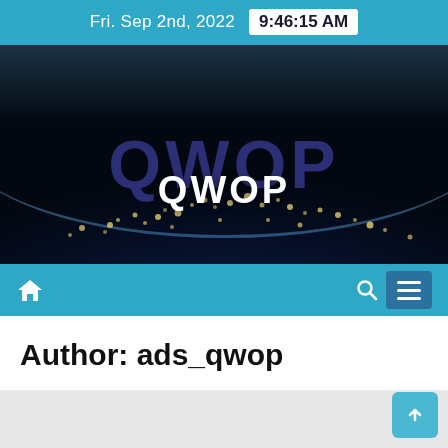Fri. Sep 2nd, 2022   9:46:15 AM
[Figure (screenshot): Hero banner showing Earth from space at night with city lights visible. Background is dark space with a curved horizon and blue atmosphere glow. A semi-transparent purple/blue watermark text 'QWOP' appears behind a bright white bold 'QWOP' text in the center of the image.]
QWOP
Author: ads_qwop